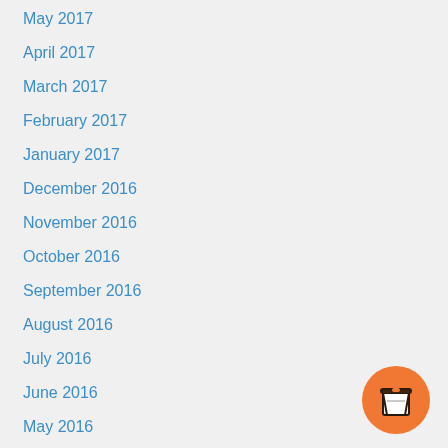May 2017
April 2017
March 2017
February 2017
January 2017
December 2016
November 2016
October 2016
September 2016
August 2016
July 2016
June 2016
May 2016
April 2016
March 2016
[Figure (illustration): Orange circular button with a coffee cup (to-go cup) icon in dark outline style]